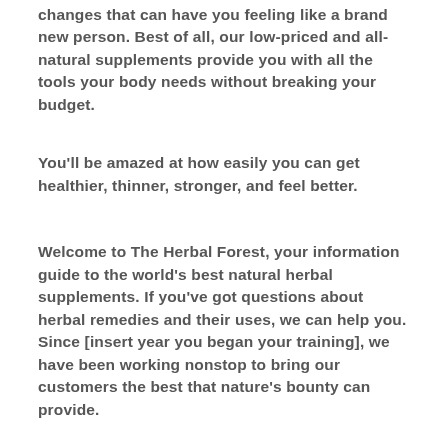changes that can have you feeling like a brand new person. Best of all, our low-priced and all-natural supplements provide you with all the tools your body needs without breaking your budget.
You'll be amazed at how easily you can get healthier, thinner, stronger, and feel better.
Welcome to The Herbal Forest, your information guide to the world's best natural herbal supplements. If you've got questions about herbal remedies and their uses, we can help you. Since [insert year you began your training], we have been working nonstop to bring our customers the best that nature's bounty can provide.